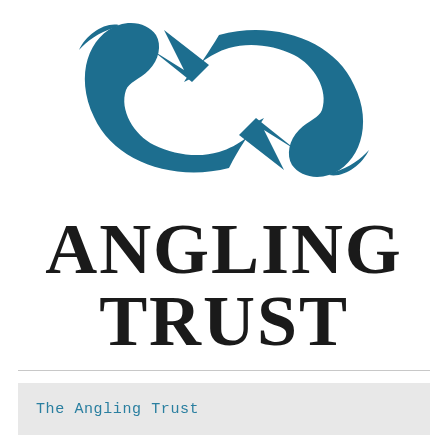[Figure (logo): Angling Trust logo: two fish forming a circular shape in teal/dark blue, arranged in a yin-yang style pattern]
ANGLING TRUST
The Angling Trust